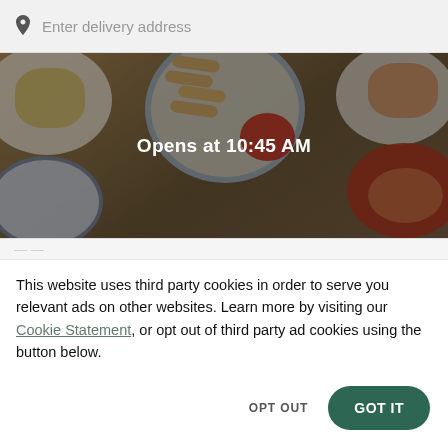Enter delivery address
[Figure (photo): Food delivery app header image showing Thai food dishes including spring rolls, soups in bowls, and other dishes on a wooden table, with a dark overlay and text 'Opens at 10:45 AM']
Opens at 10:45 AM
This website uses third party cookies in order to serve you relevant ads on other websites. Learn more by visiting our Cookie Statement, or opt out of third party ad cookies using the button below.
OPT OUT
GOT IT